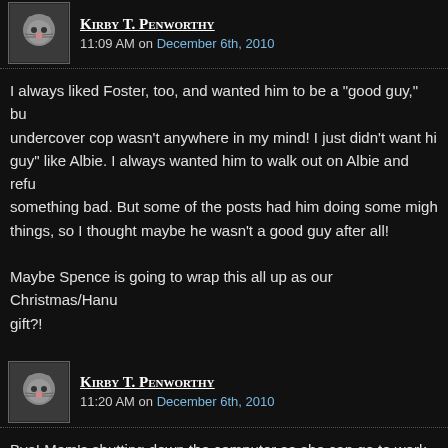Kirby T. Penworthy — 11:09 AM on December 6th, 2010
I always liked Foster, too, and wanted him to be a "good guy," but undercover cop wasn't anywhere in my mind! I just didn't want him to be a "bad guy" like Albie. I always wanted him to walk out on Albie and refuse to do something bad. But some of the posts had him doing some mighty bad things, so I thought maybe he wasn't a good guy after all!

Maybe Spence is going to wrap this all up as our Christmas/Hanukkah gift?!
Kirby T. Penworthy — 11:20 AM on December 6th, 2010
Bye! Mom's shutting down the computer so she can go to work. S
Staff — 11:25 AM on December 6th, 2010
Bye Kirby T. Penworthy...